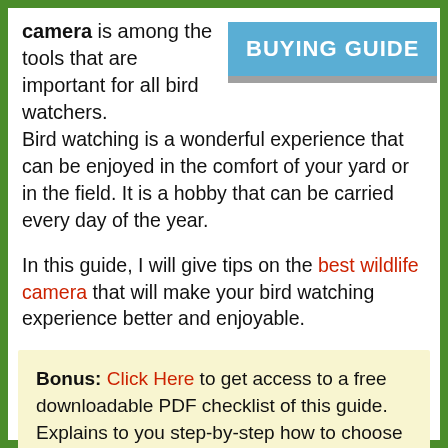camera is among the tools that are important for all bird watchers. Bird watching is a wonderful experience that can be enjoyed in the comfort of your yard or in the field. It is a hobby that can be carried every day of the year.
[Figure (other): Blue banner with white bold text reading BUYING GUIDE, with a grey shadow bar below]
In this guide, I will give tips on the best wildlife camera that will make your bird watching experience better and enjoyable.
Bonus: Click Here to get access to a free downloadable PDF checklist of this guide. Explains to you step-by-step how to choose